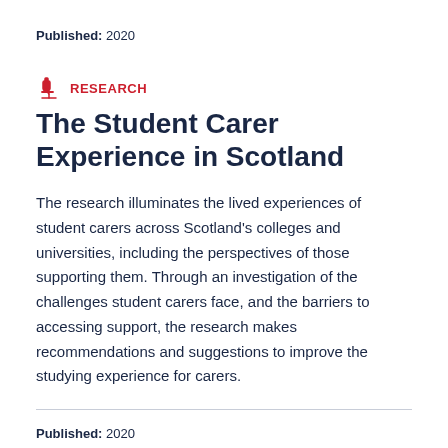Published: 2020
RESEARCH
The Student Carer Experience in Scotland
The research illuminates the lived experiences of student carers across Scotland's colleges and universities, including the perspectives of those supporting them. Through an investigation of the challenges student carers face, and the barriers to accessing support, the research makes recommendations and suggestions to improve the studying experience for carers.
Published: 2020